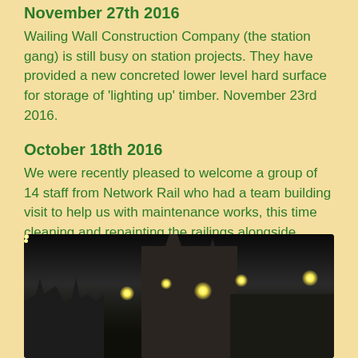November 27th 2016
Wailing Wall Construction Company (the station gang) is still busy on station projects. They have provided a new concreted lower level hard surface for storage of 'lighting up' timber. November 23rd 2016.
October 18th 2016
We were recently pleased to welcome a group of 14 staff from Network Rail who had a team building visit to help us with maintenance works, this time cleaning and repainting the railings alongside platform 2. They completed the section up to the waiting room. Thanks guys!
[Figure (photo): Night-time photograph of a railway station with illuminated buildings, spires and lights visible against a dark sky.]